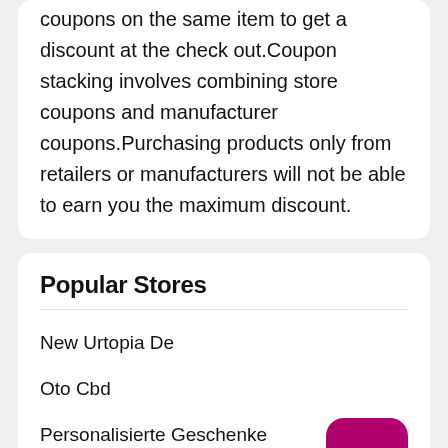coupons on the same item to get a discount at the check out.Coupon stacking involves combining store coupons and manufacturer coupons.Purchasing products only from retailers or manufacturers will not be able to earn you the maximum discount.
Popular Stores
New Urtopia De
Oto Cbd
Personalisierte Geschenke
Ritual Unions